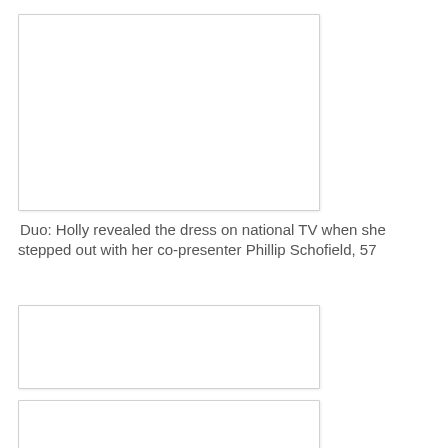[Figure (photo): Large image placeholder box at top of page]
Duo: Holly revealed the dress on national TV when she stepped out with her co-presenter Phillip Schofield, 57
[Figure (photo): Medium image placeholder box]
[Figure (photo): Medium image placeholder box]
[Figure (photo): Partial image placeholder box at bottom]